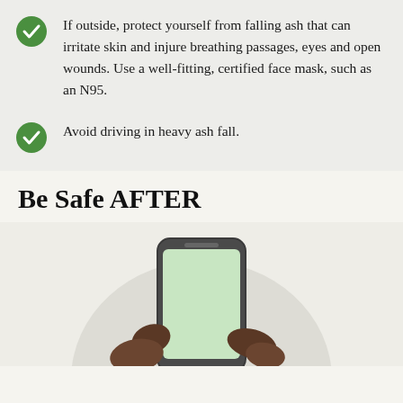If outside, protect yourself from falling ash that can irritate skin and injure breathing passages, eyes and open wounds. Use a well-fitting, certified face mask, such as an N95.
Avoid driving in heavy ash fall.
Be Safe AFTER
[Figure (illustration): Illustration of a hand holding a smartphone with a green screen, set against a light grey circular background. The hand has dark brown skin tones.]